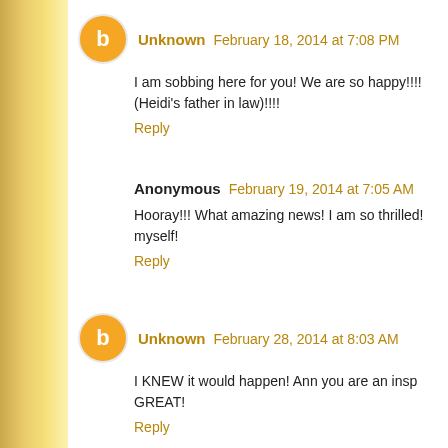Unknown February 18, 2014 at 7:08 PM
I am sobbing here for you! We are so happy!!!!
(Heidi's father in law)!!!!
Reply
Anonymous February 19, 2014 at 7:05 AM
Hooray!!! What amazing news! I am so thrilled!
myself!
Reply
Unknown February 28, 2014 at 8:03 AM
I KNEW it would happen! Ann you are an insp
GREAT!
Reply